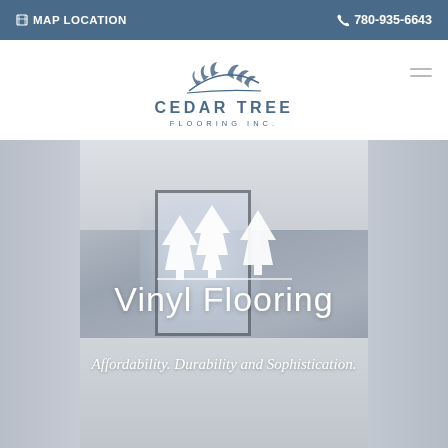MAP LOCATION   780-935-6643
[Figure (logo): Cedar Tree Flooring Inc. logo with stylized pine branch graphic above the company name]
[Figure (photo): Background photo of a bright white hallway/corridor with vinyl flooring, overlaid with white cedar tree icons and text 'Vinyl Flooring' and italic subtitle 'Affordability. Durability and Sophistication.']
Vinyl Flooring
Affordability. Durability and Sophistication.